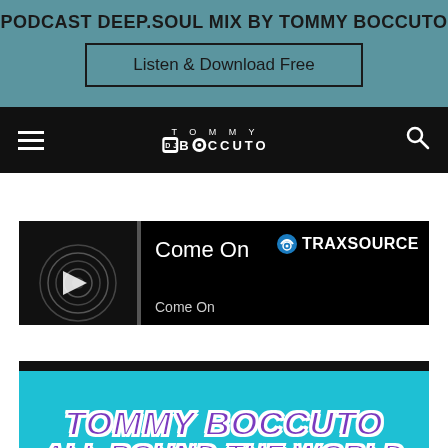PODCAST DEEP.SOUL MIX BY TOMMY BOCCUTO
Listen & Download Free
[Figure (logo): Tommy Boccuto DJ logo with hamburger menu and search icon on black navigation bar]
[Figure (screenshot): Traxsource music player card showing 'Come On' track on black background with headphone logo]
[Figure (illustration): Tommy Boccuto All Round The World promotional banner with purple bold text on teal background]